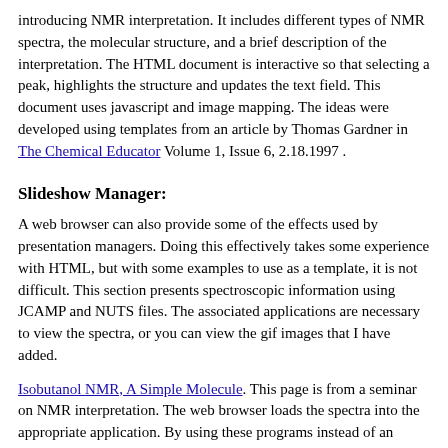introducing NMR interpretation. It includes different types of NMR spectra, the molecular structure, and a brief description of the interpretation. The HTML document is interactive so that selecting a peak, highlights the structure and updates the text field. This document uses javascript and image mapping. The ideas were developed using templates from an article by Thomas Gardner in The Chemical Educator Volume 1, Issue 6, 2.18.1997 .
Slideshow Manager:
A web browser can also provide some of the effects used by presentation managers. Doing this effectively takes some experience with HTML, but with some examples to use as a template, it is not difficult. This section presents spectroscopic information using JCAMP and NUTS files. The associated applications are necessary to view the spectra, or you can view the gif images that I have added.
Isobutanol NMR, A Simple Molecule. This page is from a seminar on NMR interpretation. The web browser loads the spectra into the appropriate application. By using these programs instead of an image, it is possible to zoom in and examine the spectra in detail. For advanced courses it is easy to include data processing as part